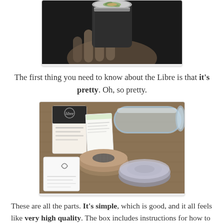[Figure (photo): Close-up photo of a hand holding the bottom/cap of a Libre tea glass, showing the filter mesh and lid from underneath, against a dark background.]
The first thing you need to know about the Libre is that it's pretty. Oh, so pretty.
[Figure (photo): Photo of all the parts of the Libre tea glass laid out on a burlap surface: the clear glass tube, the metal screw cap with mesh filter, the plastic bottom cap, and the Libre branded box and packaging card.]
These are all the parts. It's simple, which is good, and it all feels like very high quality. The box includes instructions for how to use the glass, which you can also read on Libre Tea's website and even watch a couple little videos they have. In